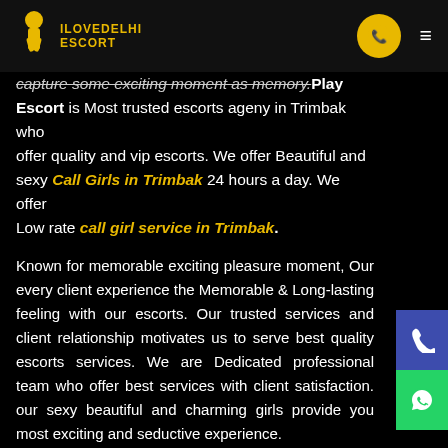ILOVEDELHI ESCORT | phone icon | hamburger menu
capture some exciting moment as memory. Play Escort is Most trusted escorts ageny in Trimbak who offer quality and vip escorts. We offer Beautiful and sexy Call Girls in Trimbak 24 hours a day. We offer Low rate call girl service in Trimbak.
Known for memorable exciting pleasure moment, Our every client experience the Memorable & Long-lasting feeling with our escorts. Our trusted services and client relationship motivates us to serve best quality escorts services. We are Dedicated professional team who offer best services with client satisfaction. our sexy beautiful and charming girls provide you most exciting and seductive experience.
We select honest beautiful discreet charming personality girls who can offer our client best quality service. We have our agency some guidelines for our